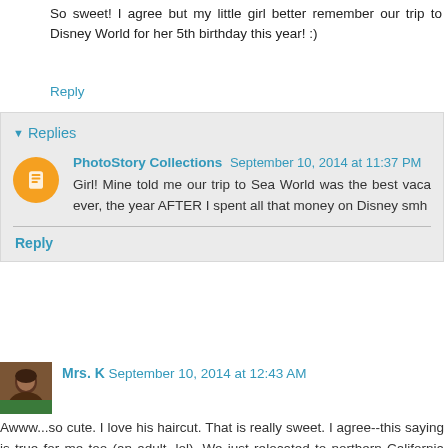So sweet! I agree but my little girl better remember our trip to Disney World for her 5th birthday this year! :)
Reply
Replies
PhotoStory Collections  September 10, 2014 at 11:37 PM
Girl! Mine told me our trip to Sea World was the best vaca ever, the year AFTER I spent all that money on Disney smh
Reply
Mrs. K  September 10, 2014 at 12:43 AM
Awww...so cute. I love his haircut. That is really sweet. I agree--this saying is true for me too (an adult--lol). We just relocated to northern California and we've been on some amazing hikes (that were free). Nothing beats an awesome